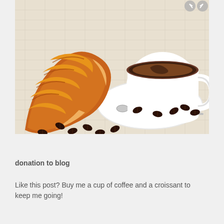[Figure (photo): A croissant and a cup of black coffee on a white saucer with scattered coffee beans and a spoon on a woven placemat background]
donation to blog
Like this post? Buy me a cup of coffee and a croissant to keep me going!